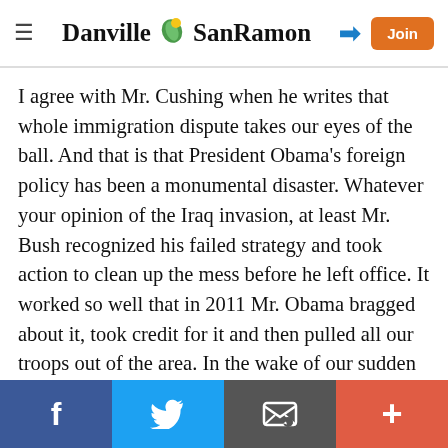Danville SanRamon
I agree with Mr. Cushing when he writes that whole immigration dispute takes our eyes of the ball. And that is that President Obama’s foreign policy has been a monumental disaster. Whatever your opinion of the Iraq invasion, at least Mr. Bush recognized his failed strategy and took action to clean up the mess before he left office. It worked so well that in 2011 Mr. Obama bragged about it, took credit for it and then pulled all our troops out of the area. In the wake of our sudden departure ISIS emerged, Syria repeatedly crosses a red line drawn by Mr. Obama with regard to poison gas, 200,000 Syrians have died, millions more have fled Syria creating the worst refugee crisis since World War II and Russia has reemerged as a leading power in the Middle East. And that is just about Syria. Quite an impressive legacy for
f | Twitter | Email | +